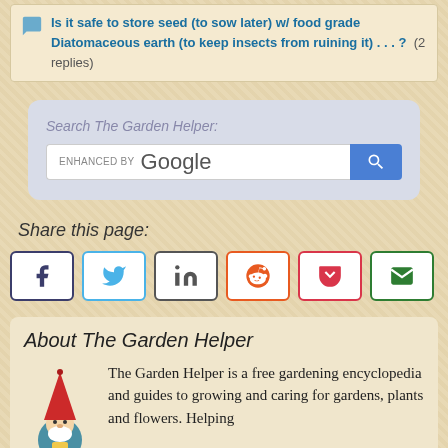Is it safe to store seed (to sow later) w/ food grade Diatomaceous earth (to keep insects from ruining it) . . . ? (2 replies)
[Figure (screenshot): Google search box with 'ENHANCED BY Google' text and a blue search button with magnifying glass icon, inside a light blue-grey rounded container labeled 'Search The Garden Helper:']
Share this page:
[Figure (infographic): Row of social media share buttons: Facebook (dark blue icon), Twitter (light blue bird icon), LinkedIn (grey 'in' icon), Reddit (orange alien icon), Pocket (red icon), Email (green envelope icon)]
About The Garden Helper
The Garden Helper is a free gardening encyclopedia and guides to growing and caring for gardens, plants and flowers. Helping